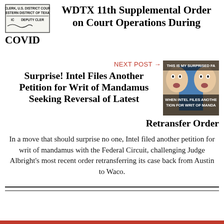[Figure (other): Stamp or seal image from WDTX US District Court Eastern District of Texas with Deputy Clerk signature]
WDTX 11th Supplemental Order on Court Operations During COVID
NEXT POST →
Surprise! Intel Files Another Petition for Writ of Mandamus Seeking Reversal of Latest Retransfer Order
[Figure (photo): Meme image showing a surprised face with text 'THIS IS MY SURPRISED FACE' and 'WHEN INTEL FILES ANOTHER TION FOR WRIT OF MANDA']
In a move that should surprise no one, Intel filed another petition for writ of mandamus with the Federal Circuit, challenging Judge Albright's most recent order retransferring its case back from Austin to Waco.